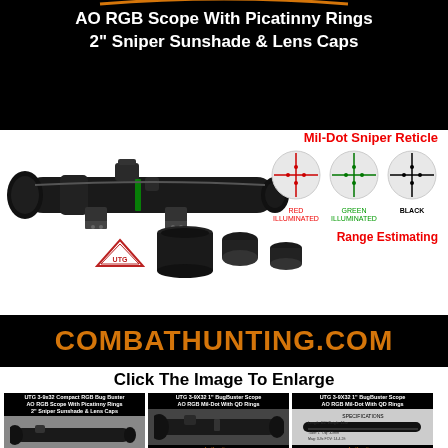AO RGB Scope With Picatinny Rings 2" Sniper Sunshade & Lens Caps
[Figure (photo): Product photo of UTG 3-9x32 BugBuster scope with Picatinny rings, sunshade, and lens caps. Shows Mil-Dot Sniper Reticle in red illuminated, green illuminated, and black modes. Range Estimating feature noted.]
[Figure (logo): COMBATHUNTING.COM orange text logo on black banner]
Click The Image To Enlarge
[Figure (photo): Thumbnail 1: UTG 3-9x32 Compact RGB Bug Buster AO RGB Scope With Picatinny Rings 2" Sniper Sunshade & Lens Caps]
[Figure (photo): Thumbnail 2: UTG 3-9X32 1" BugBuster Scope AO RGB Mil-Dot With QD Rings - scope photo]
[Figure (photo): Thumbnail 3: UTG 3-9X32 1" BugBuster Scope AO RGB Mil-Dot With QD Rings - specifications]
[Figure (photo): Thumbnail 4: UTG 3-9X32 1" BugBuster Scope AO RGB Mil-Dot With QD Rings - Red & Green illuminator]
[Figure (photo): Thumbnail 5: UTG 3-9X32 1" BugBuster Scope AO RGB Mil-Dot With QD Rings - close up]
[Figure (photo): Thumbnail 6: Empty / scope on white background]